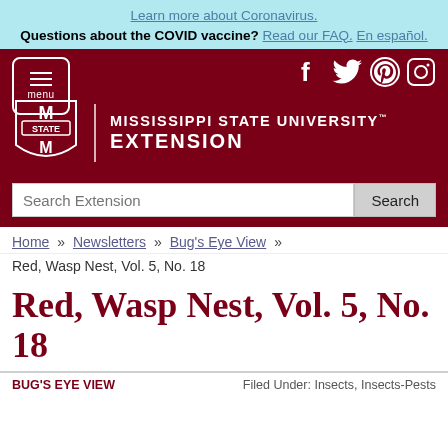Learn more about Coronavirus. Questions about the COVID vaccine? Read our FAQ. En español.
[Figure (screenshot): Mississippi State University Extension website header with maroon background, menu button, social media icons (Facebook, Twitter, Pinterest, Instagram), MSU shield logo, and search bar]
Home » Newsletters » Bug's Eye View »
Red, Wasp Nest, Vol. 5, No. 18
Red, Wasp Nest, Vol. 5, No. 18
BUG'S EYE VIEW    Filed Under: Insects, Insects-Pests